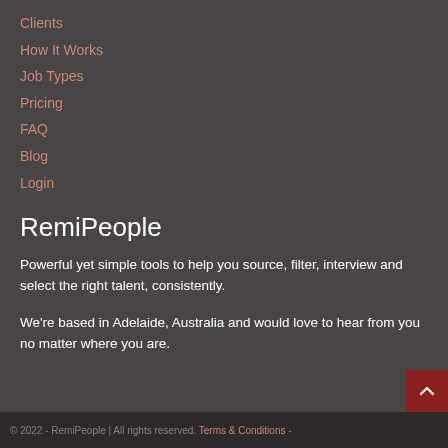Clients
How It Works
Job Types
Pricing
FAQ
Blog
Login
RemiPeople
Powerful yet simple tools to help you source, filter, interview and select the right talent, consistently.
We're based in Adelaide, Australia and would love to hear from you no matter where you are.
© 2022 - RemiPeople | All rights reserved. Terms & Conditions -